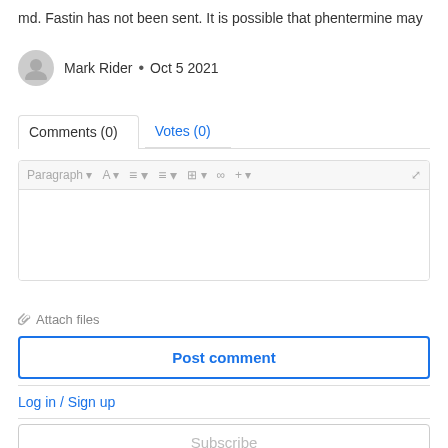md. Fastin has not been sent. It is possible that phentermine may
Mark Rider • Oct 5 2021
Comments (0)
Votes (0)
[Figure (screenshot): Rich text editor toolbar with options: Paragraph, A, alignment, table, link, plus, and expand icons]
Attach files
Post comment
Log in / Sign up
Subscribe